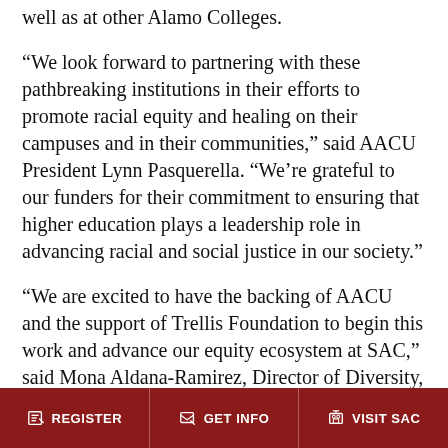well as at other Alamo Colleges.
“We look forward to partnering with these pathbreaking institutions in their efforts to promote racial equity and healing on their campuses and in their communities,” said AACU President Lynn Pasquerella. “We’re grateful to our funders for their commitment to ensuring that higher education plays a leadership role in advancing racial and social justice in our society.”
“We are excited to have the backing of AACU and the support of Trellis Foundation to begin this work and advance our equity ecosystem at SAC,” said Mona Aldana-Ramirez, Director of Diversity, Equity and Inclusive Excellence. “Having the support of  faculty, staff and students to transform our institution, as well as grant funding, will enable us to build capacity,
REGISTER   GET INFO   VISIT SAC